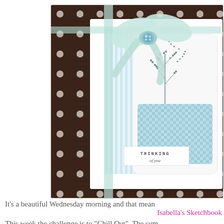[Figure (photo): A handmade greeting card with 'Thinking of You' text, featuring blue and white striped paper, a mint/teal ribbon bow with a blue button, and a stamped floral branch design, set on dark brown polka-dot background paper.]
It's a beautiful Wednesday morning and that mean Isabella's Sketchbook This week the challenge is to "Chill Out". The sum